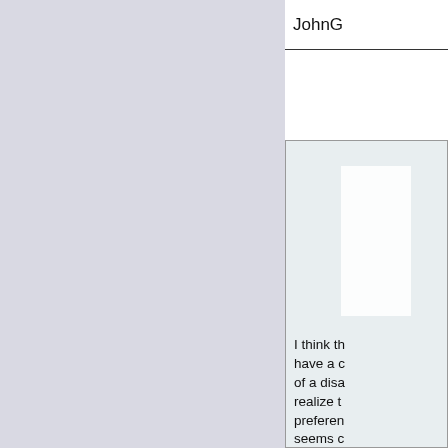[Figure (screenshot): Left panel with light blue-gray background, representing a UI panel or content area]
JohnG
I think th... have a c... of a disa... realize t... preferen... seems c...